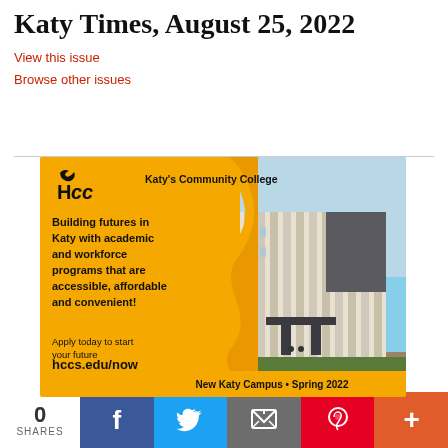Katy Times, August 25, 2022
View this issue
Browse other issues
[Figure (illustration): HCC (Houston Community College) advertisement for Katy's Community College. Yellow/orange background with flame wave design, HCC logo, text reading 'Building futures in Katy with academic and workforce programs that are accessible, affordable and convenient! Apply today to start your future hccs.edu/now', photo of new Katy Campus building, banner reading 'New Katy Campus • Spring 2022']
0 SHARES
[Figure (infographic): Social sharing bar with Facebook, Twitter, email, Pinterest, and more buttons]